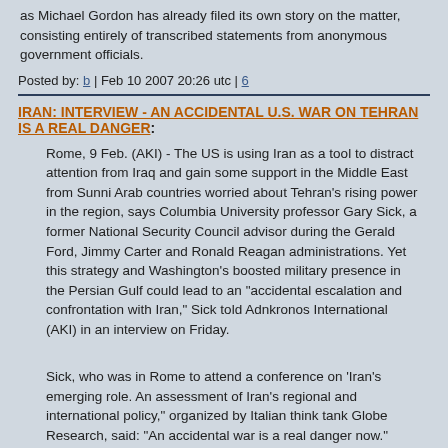as Michael Gordon has already filed its own story on the matter, consisting entirely of transcribed statements from anonymous government officials.
Posted by: b | Feb 10 2007 20:26 utc | 6
IRAN: INTERVIEW - AN ACCIDENTAL U.S. WAR ON TEHRAN IS A REAL DANGER:
Rome, 9 Feb. (AKI) - The US is using Iran as a tool to distract attention from Iraq and gain some support in the Middle East from Sunni Arab countries worried about Tehran's rising power in the region, says Columbia University professor Gary Sick, a former National Security Council advisor during the Gerald Ford, Jimmy Carter and Ronald Reagan administrations. Yet this strategy and Washington's boosted military presence in the Persian Gulf could lead to an "accidental escalation and confrontation with Iran," Sick told Adnkronos International (AKI) in an interview on Friday.
Sick, who was in Rome to attend a conference on 'Iran's emerging role. An assessment of Iran's regional and international policy," organized by Italian think tank Globe Research, said: "An accidental war is a real danger now."